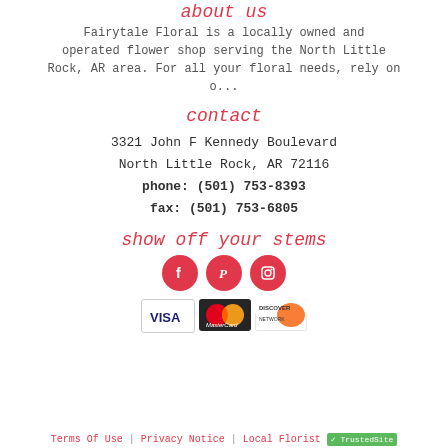about us
Fairytale Floral is a locally owned and operated flower shop serving the North Little Rock, AR area. For all your floral needs, rely on o...
contact
3321 John F Kennedy Boulevard
North Little Rock, AR 72116
phone: (501) 753-8393
fax: (501) 753-6805
show off your stems
[Figure (logo): Three social media icons: Facebook, Pinterest, Instagram — pink circles with white icons]
[Figure (logo): Payment method logos: Visa, MasterCard, Discover]
Terms Of Use | Privacy Notice | Local Florist | TrustedSite